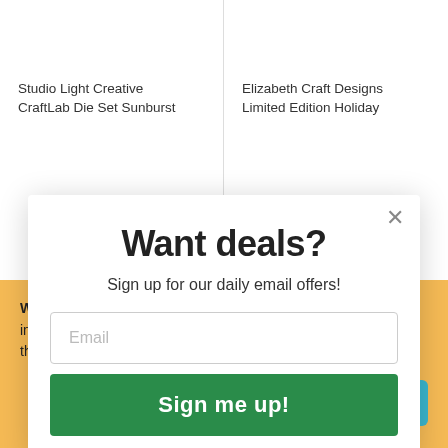Studio Light Creative CraftLab Die Set Sunburst
Elizabeth Craft Designs Limited Edition Holiday
Want deals?
Sign up for our daily email offers!
Email
Sign me up!
We use cookies to give you the best experience. For more information, see our Privacy Policy. page. If you're happy with this, please click the Allow button.
ALLOW